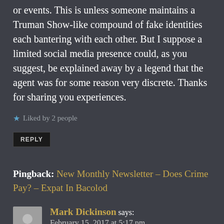or events. This is unless someone maintains a Truman Show-like compound of fake identities each bantering with each other. But I suppose a limited social media presence could, as you suggest, be explained away by a legend that the agent was for some reason very discrete. Thanks for sharing you experiences.
Liked by 2 people
REPLY
Pingback: New Monthly Newsletter – Does Crime Pay? – Expat In Bacolod
Mark Dickinson says: February 15, 2017 at 5:17 pm